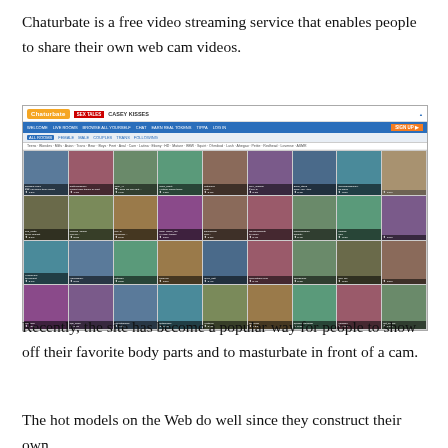Chaturbate is a free video streaming service that enables people to share their own web cam videos.
[Figure (screenshot): Screenshot of the Chaturbate website showing a grid of webcam video thumbnails with navigation bar, sign up button, and category filters.]
Recently, the site has become a popular way for people to show off their favorite body parts and to masturbate in front of a cam.
The hot models on the Web do well since they construct their own